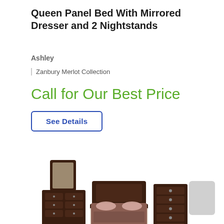Queen Panel Bed With Mirrored Dresser and 2 Nightstands
Ashley
Zanbury Merlot Collection
Call for Our Best Price
See Details
[Figure (photo): Bedroom furniture set: mirrored dresser with drawers on the left, queen panel bed with brown bedding in the center, and a tall chest of drawers on the right. Dark espresso wood finish.]